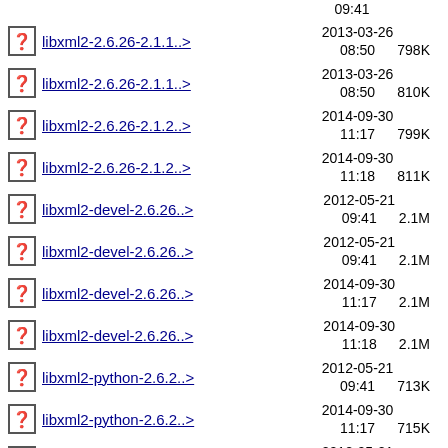libxml2-2.6.26-2.1.1..> 2013-03-26 08:50 798K
libxml2-2.6.26-2.1.1..> 2013-03-26 08:50 810K
libxml2-2.6.26-2.1.2..> 2014-09-30 11:17 799K
libxml2-2.6.26-2.1.2..> 2014-09-30 11:18 811K
libxml2-devel-2.6.26..> 2012-05-21 09:41 2.1M
libxml2-devel-2.6.26..> 2012-05-21 09:41 2.1M
libxml2-devel-2.6.26..> 2014-09-30 11:17 2.1M
libxml2-devel-2.6.26..> 2014-09-30 11:18 2.1M
libxml2-python-2.6.2..> 2012-05-21 09:41 713K
libxml2-python-2.6.2..> 2014-09-30 11:17 715K
libxslt-1.1.17-2.el5..> 2012-05-21 09:37 485K